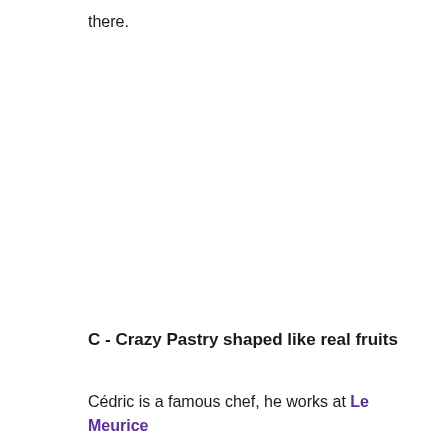there.
C - Crazy Pastry shaped like real fruits
Cédric is a famous chef, he works at Le Meurice